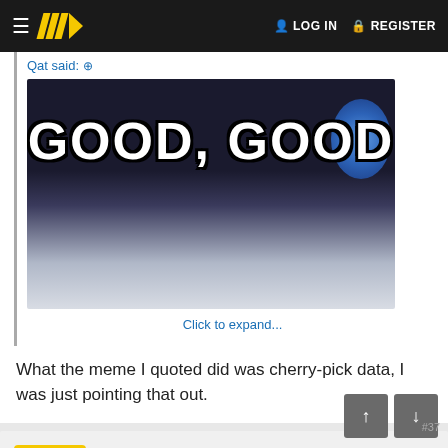≡  [Logo] LOG IN  REGISTER
Qat said: ↑
[Figure (photo): Meme image with dark background showing text 'GOOD, GOOD' in white Impact font with black outline, blue orb/light on the right side]
Click to expand...
What the meme I quoted did was cherry-pick data, I was just pointing that out.
Qat
QoQ
May 14, 2022